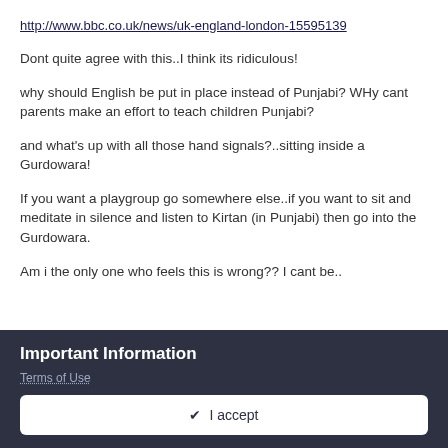http://www.bbc.co.uk/news/uk-england-london-15595139
Dont quite agree with this..I think its ridiculous!
why should English be put in place instead of Punjabi? WHy cant parents make an effort to teach children Punjabi?
and what's up with all those hand signals?..sitting inside a Gurdowara!
If you want a playgroup go somewhere else..if you want to sit and meditate in silence and listen to Kirtan (in Punjabi) then go into the Gurdowara.
Am i the only one who feels this is wrong?? I cant be..
Important Information
Terms of Use
✔ I accept